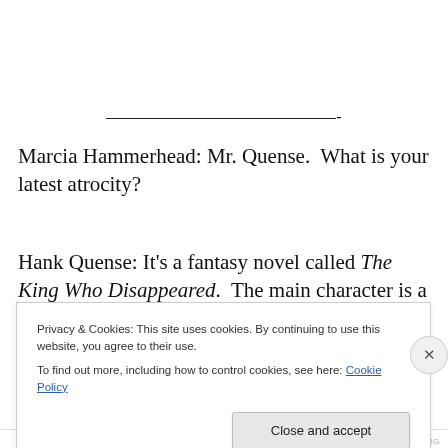___________________________-
Marcia Hammerhead: Mr. Quense.  What is your latest atrocity?
Hank Quense: It's a fantasy novel called The King Who Disappeared.  The main character is a king who spends two hundred years under a sleep spell.  When he
Privacy & Cookies: This site uses cookies. By continuing to use this website, you agree to their use.
To find out more, including how to control cookies, see here: Cookie Policy
Close and accept